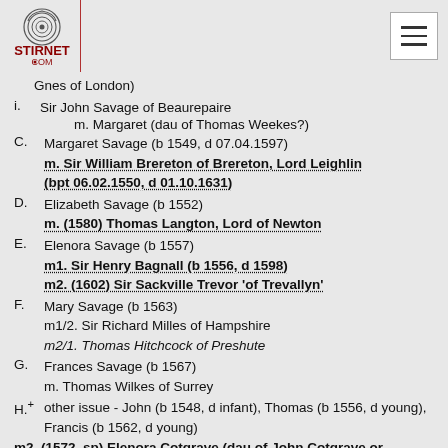STIRNET.COM
Gnes or London)
i. Sir John Savage of Beaurepaire
      m. Margaret (dau of Thomas Weekes?)
C. Margaret Savage (b 1549, d 07.04.1597)
   m. Sir William Brereton of Brereton, Lord Leighlin (bpt 06.02.1550, d 01.10.1631)
D. Elizabeth Savage (b 1552)
   m. (1580) Thomas Langton, Lord of Newton
E. Elenora Savage (b 1557)
   m1. Sir Henry Bagnall (b 1556, d 1598)
   m2. (1602) Sir Sackville Trevor 'of Trevallyn'
F. Mary Savage (b 1563)
   m1/2. Sir Richard Milles of Hampshire
   m2/1. Thomas Hitchcock of Preshute
G. Frances Savage (b 1567)
   m. Thomas Wilkes of Surrey
H.+ other issue - John (b 1548, d infant), Thomas (b 1556, d young), Francis (b 1562, d young)
m2. (1572, sp) Elenora Cotgrave (dau of John Cotgrave or Cotgreve of Stubbs, widow of Sir Richard Peshul of